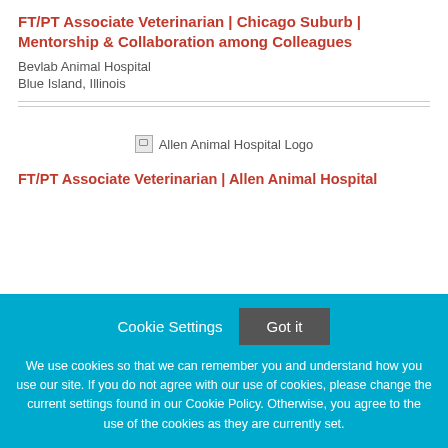FT/PT Associate Veterinarian | Chicago Suburb | Mentorship & Collaboration among Colleagues
Bevlab Animal Hospital
Blue Island, Illinois
[Figure (logo): Allen Animal Hospital Logo (broken image placeholder)]
FT/PT Associate Veterinarian | Allen Animal Hospital
Cookie Settings  Got it
We use cookies so that we can remember you and understand how you use our site. If you do not agree with our use of cookies, please change the current settings found in our Cookie Policy. Otherwise, you agree to the use of the cookies as they are currently set.